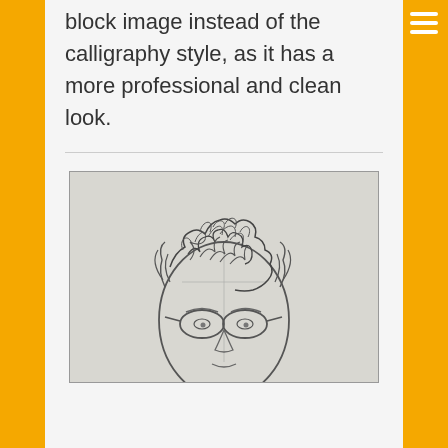block image instead of the calligraphy style, as it has a more professional and clean look.
[Figure (illustration): A pencil sketch/drawing of a person's face with curly/messy scribbled hair and glasses, drawn on light gray paper.]